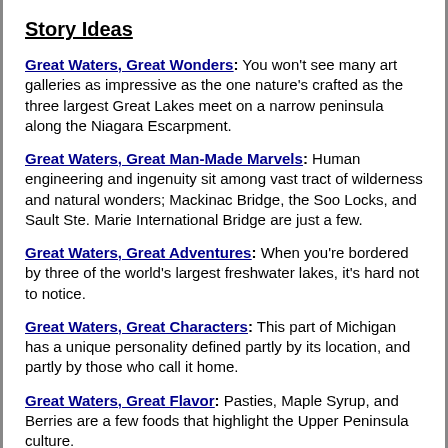Story Ideas
Great Waters, Great Wonders: You won't see many art galleries as impressive as the one nature's crafted as the three largest Great Lakes meet on a narrow peninsula along the Niagara Escarpment.
Great Waters, Great Man-Made Marvels: Human engineering and ingenuity sit among vast tract of wilderness and natural wonders; Mackinac Bridge, the Soo Locks, and Sault Ste. Marie International Bridge are just a few.
Great Waters, Great Adventures: When you're bordered by three of the world's largest freshwater lakes, it's hard not to notice.
Great Waters, Great Characters: This part of Michigan has a unique personality defined partly by its location, and partly by those who call it home.
Great Waters, Great Flavor: Pasties, Maple Syrup, and Berries are a few foods that highlight the Upper Peninsula culture.
Great Waters, Great Birding: The repetitive, nightly hoots of owls at Whitefish Point remind visitors where they've traveled. More than 330 species of birds are seen regular.
Great Waters, On the Water: These inland seas were carved by